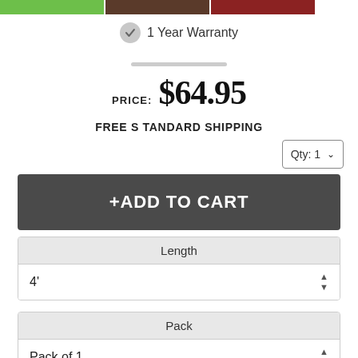[Figure (photo): Product thumbnail strip at top with green, brown, and dark red thumbnail images]
1 Year Warranty
PRICE: $64.95
FREE STANDARD SHIPPING
Qty: 1
+ ADD TO CART
Length
4'
Pack
Pack of 1